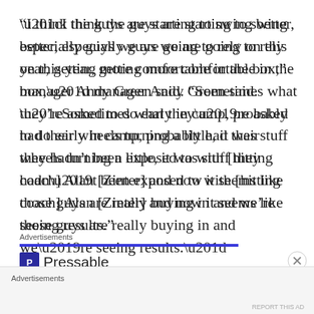“I think the guys are starting to swing better, especially guys we are going to rely on this year, getting more comfortable in the box,” manager Andy Green said. “Sometimes what they’re asked to do early in camp, probably had their wheels turning a little, it was stuff they hadn’t been exposed to with [hitting coach] Alan [Zinter] and now it seems like those guys are really buying in and we’re seeing results.”
[Figure (other): Pressable advertisement with blue bar header, Pressable logo and name, dotted URL line, and 'The Platform' text partially visible]
Advertisements
Advertisements